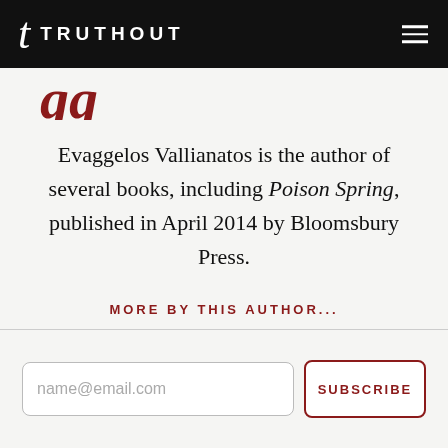TRUTHOUT
Evaggelos Vallianatos is the author of several books, including Poison Spring, published in April 2014 by Bloomsbury Press.
MORE BY THIS AUTHOR...